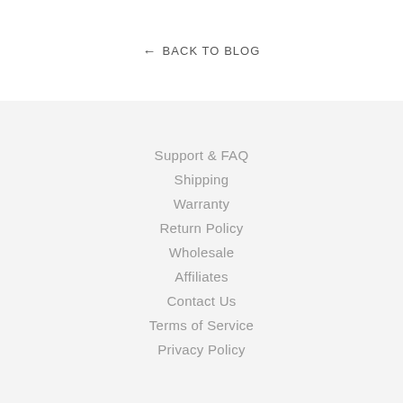← BACK TO BLOG
Support & FAQ
Shipping
Warranty
Return Policy
Wholesale
Affiliates
Contact Us
Terms of Service
Privacy Policy